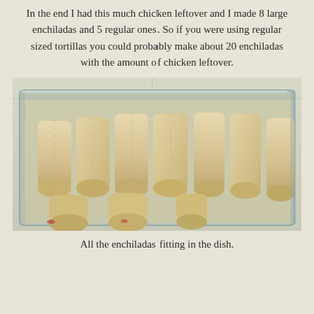In the end I had this much chicken leftover and I made 8 large enchiladas and 5 regular ones. So if you were using regular sized tortillas you could probably make about 20 enchiladas with the amount of chicken leftover.
[Figure (photo): Rolled enchiladas arranged in a glass baking dish, viewed from above at a slight angle. Multiple rows of tortilla-wrapped enchiladas are packed tightly in the rectangular glass pan.]
All the enchiladas fitting in the dish.